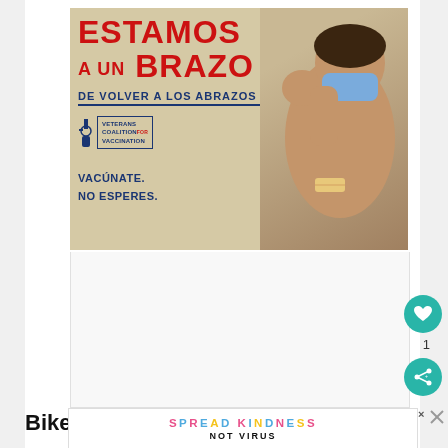[Figure (illustration): Vaccination public service ad in Spanish. Large red text: 'ESTAMOS A UN BRAZO' and dark blue text 'DE VOLVER A LOS ABRAZOS'. Shows a person flexing their arm with a bandage, wearing a blue mask. Veterans Coalition for Vaccination logo. Text: 'VACÚNATE. NO ESPERES.' Beige/tan background.]
[Figure (illustration): Colorful 'SPREAD KINDNESS NOT VIRUS' banner advertisement.]
Bike